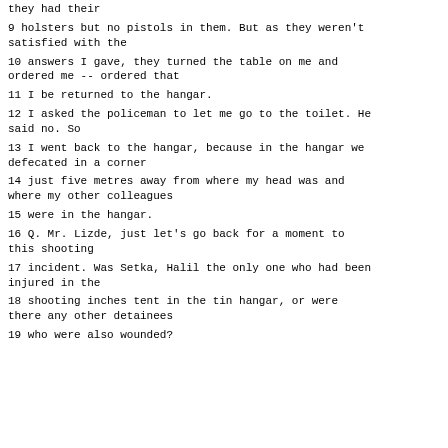they had their
9 holsters but no pistols in them. But as they weren't satisfied with the
10 answers I gave, they turned the table on me and ordered me -- ordered that
11 I be returned to the hangar.
12 I asked the policeman to let me go to the toilet. He said no. So
13 I went back to the hangar, because in the hangar we defecated in a corner
14 just five metres away from where my head was and where my other colleagues
15 were in the hangar.
16 Q. Mr. Lizde, just let's go back for a moment to this shooting
17 incident. Was Setka, Halil the only one who had been injured in the
18 shooting inches tent in the tin hangar, or were there any other detainees
19 who were also wounded?